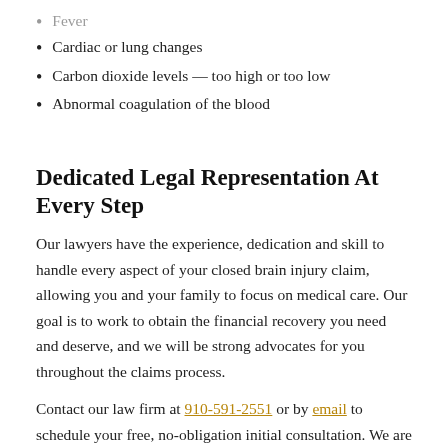Fever
Cardiac or lung changes
Carbon dioxide levels — too high or too low
Abnormal coagulation of the blood
Dedicated Legal Representation At Every Step
Our lawyers have the experience, dedication and skill to handle every aspect of your closed brain injury claim, allowing you and your family to focus on medical care. Our goal is to work to obtain the financial recovery you need and deserve, and we will be strong advocates for you throughout the claims process.
Contact our law firm at 910-591-2551 or by email to schedule your free, no-obligation initial consultation. We are able to assist clients throughout the state from our office